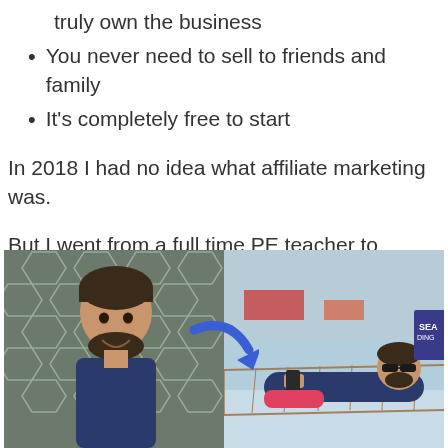truly own the business
You never need to sell to friends and family
It's completely free to start
In 2018 I had no idea what affiliate marketing was.
But I went from a full time PE teacher to making a passive income online within one year...
[Figure (photo): Before and after comparison photo: left side shows a man smiling in front of a hexagon wall, right side shows a man relaxing in a hammock at a beach resort, with a blue arrow pointing from left to right between the two images.]